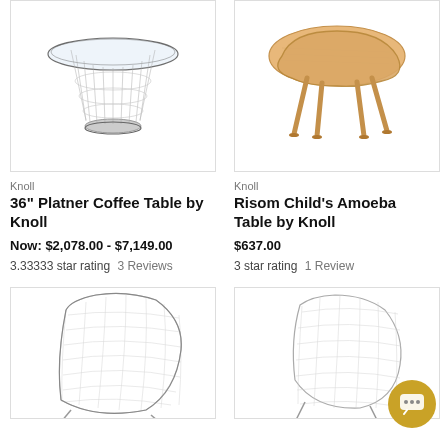[Figure (photo): 36-inch Platner Coffee Table with wire base and glass top, product image on white background]
Knoll
36" Platner Coffee Table by Knoll
Now: $2,078.00 - $7,149.00
3.33333 star rating   3 Reviews
[Figure (photo): Risom Child's Amoeba Table by Knoll, light wood table with organic shaped top and four angled legs]
Knoll
Risom Child's Amoeba Table by Knoll
$637.00
3 star rating   1 Review
[Figure (photo): Wire frame lounge chair, wireframe 3D model illustration]
[Figure (photo): Wire frame side chair, wireframe 3D model illustration]